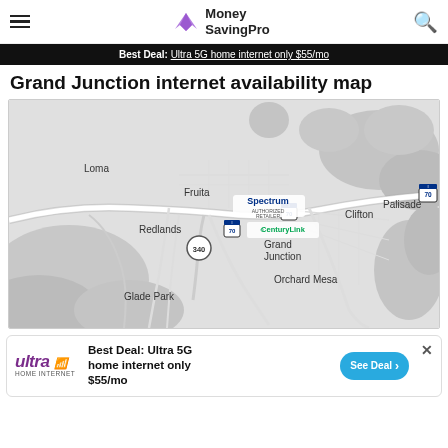MoneySavingPro
Best Deal: Ultra 5G home internet only $55/mo
Grand Junction internet availability map
[Figure (map): Map of Grand Junction, Colorado area showing internet provider coverage areas. Labels include: Loma, Fruita, Redlands, Clifton, Palisade, Grand Junction, Orchard Mesa, Glade Park. Provider logos for Spectrum and CenturyLink visible. Interstate 70 and Highway 340 shown.]
Best Deal: Ultra 5G home internet only $55/mo